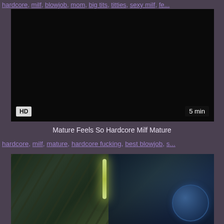hardcore, milf, blowjob, mom, big tits, titties, sexy milf, fe...
[Figure (screenshot): Dark/black video thumbnail with HD badge bottom-left and '5 min' duration badge bottom-right]
Mature Feels So Hardcore Milf Mature
hardcore, milf, mature, hardcore fucking, best blowjob, s...
[Figure (screenshot): Dark industrial/sci-fi video thumbnail with green fluorescent light and globe structure on right]